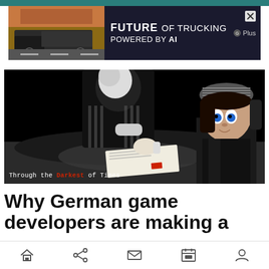[Figure (screenshot): Advertisement banner for 'Future of Trucking Powered by AI' with a truck image on a dark background and Plus logo]
[Figure (screenshot): Dark animated game screenshot from 'Through the Darkest of Times' showing stylized characters at a table, one pressing a document]
Why German game developers are making a
[Figure (screenshot): Mobile browser bottom navigation bar with home, share, mail, calendar, and profile icons]